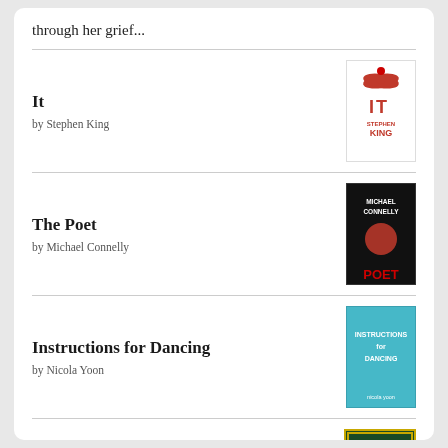through her grief...
It by Stephen King
The Poet by Michael Connelly
Instructions for Dancing by Nicola Yoon
Newt's Emerald by Garth Nix
[Figure (logo): Goodreads logo button]
goodreads